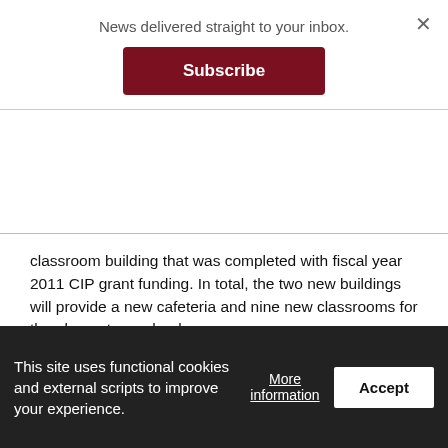News delivered straight to your inbox.
Subscribe
classroom building that was completed with fiscal year 2011 CIP grant funding. In total, the two new buildings will provide a new cafeteria and nine new classrooms for the elementary school.
• $711,533 to the Department of Port Administration for construction of a new service wharf. The project, which costs a total of $8.7 million and is part of the territory's Five-Year and Long-Term Facilities Plans, will provide a new wharf for servicing ships and facilitating port operations in Pago Pago Harbor. The existing service wharf, which was built in the 1950s on sediment instead of a solid basalt foundation, has deteriorated to a state that is unsafe for port operations and is slowly sinking. Initial plans to renovate the wharf were scrapped following geotechnical
This site uses functional cookies and external scripts to improve your experience.
More information
Accept